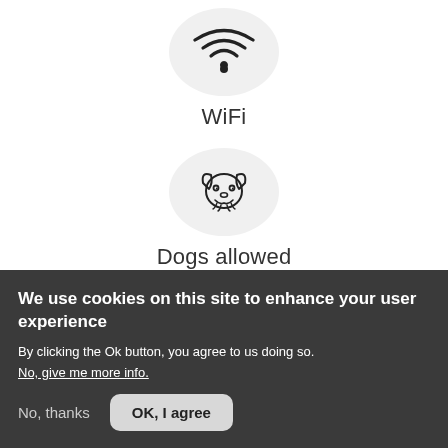[Figure (illustration): WiFi icon inside a light gray circular background]
WiFi
[Figure (illustration): Dog face icon inside a light gray circular background]
Dogs allowed
We use cookies on this site to enhance your user experience
By clicking the Ok button, you agree to us doing so.
No, give me more info.
No, thanks
OK, I agree